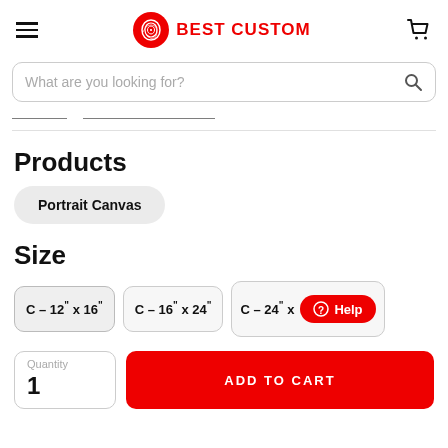BEST CUSTOM
What are you looking for?
Products
Portrait Canvas
Size
C – 12" x 16"
C – 16" x 24"
C – 24" x
Help
Quantity
ADD TO CART